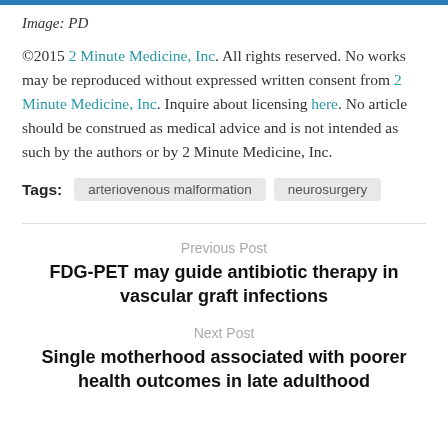Image: PD
©2015 2 Minute Medicine, Inc. All rights reserved. No works may be reproduced without expressed written consent from 2 Minute Medicine, Inc. Inquire about licensing here. No article should be construed as medical advice and is not intended as such by the authors or by 2 Minute Medicine, Inc.
Tags: arteriovenous malformation  neurosurgery
Previous Post
FDG-PET may guide antibiotic therapy in vascular graft infections
Next Post
Single motherhood associated with poorer health outcomes in late adulthood